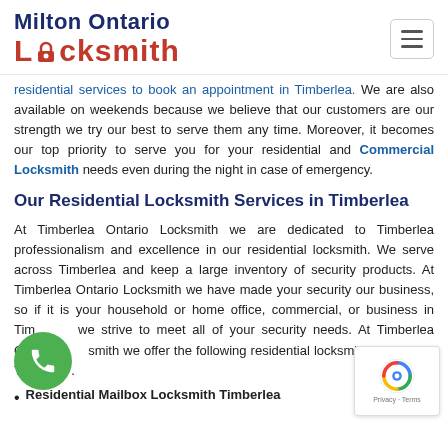Milton Ontario Locksmith
residential services to book an appointment in Timberlea. We are also available on weekends because we believe that our customers are our strength we try our best to serve them any time. Moreover, it becomes our top priority to serve you for your residential and Commercial Locksmith needs even during the night in case of emergency.
Our Residential Locksmith Services in Timberlea
At Timberlea Ontario Locksmith we are dedicated to Timberlea professionalism and excellence in our residential locksmith. We serve across Timberlea and keep a large inventory of security products. At Timberlea Ontario Locksmith we have made your security our business, so if it is your household or home office, commercial, or business in Timberlea we strive to meet all of your security needs. At Timberlea Ontario Locksmith we offer the following residential locksmith services in Timberlea.
Residential Mailbox Locksmith Timberlea